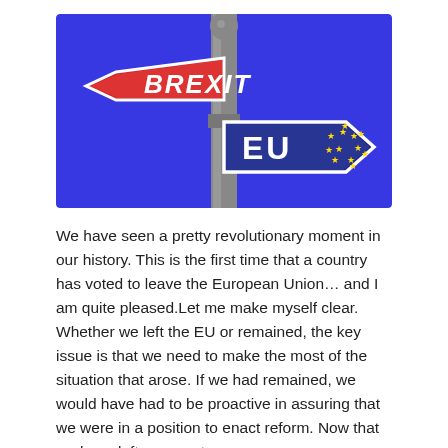[Figure (illustration): Two directional street signs mounted on a pole against a bright blue sky background. The left-pointing sign is red with white text reading 'BREXIT'. The right-pointing sign is dark blue with white text reading 'EU' and a circle of yellow EU stars on the right side.]
We have seen a pretty revolutionary moment in our history. This is the first time that a country has voted to leave the European Union… and I am quite pleased.Let me make myself clear. Whether we left the EU or remained, the key issue is that we need to make the most of the situation that arose. If we had remained, we would have had to be proactive in assuring that we were in a position to enact reform. Now that we have left, we must